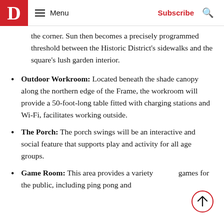D | Menu | Subscribe | Search
the corner. Sun then becomes a precisely programmed threshold between the Historic District's sidewalks and the square's lush garden interior.
Outdoor Workroom: Located beneath the shade canopy along the northern edge of the Frame, the workroom will provide a 50-foot-long table fitted with charging stations and Wi-Fi, facilitates working outside.
The Porch: The porch swings will be an interactive and social feature that supports play and activity for all age groups.
Game Room: This area provides a variety games for the public, including ping pong and